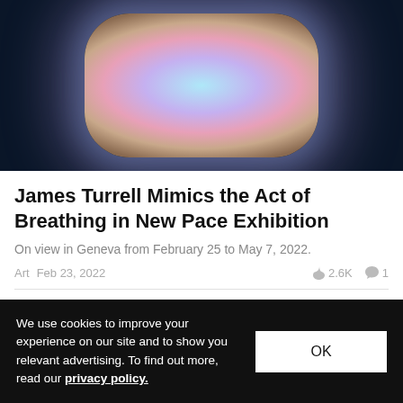[Figure (photo): Abstract glowing art installation showing a rounded rectangular form with a bright cyan-blue center surrounded by pink/purple and warm brown/tan tones on a dark navy background]
James Turrell Mimics the Act of Breathing in New Pace Exhibition
On view in Geneva from February 25 to May 7, 2022.
Art  Feb 23, 2022  🔥 2.6K  💬 1
We use cookies to improve your experience on our site and to show you relevant advertising. To find out more, read our privacy policy.